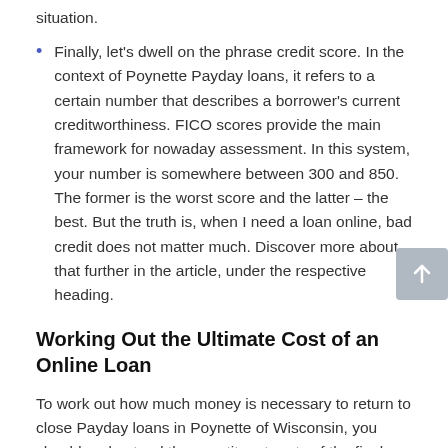situation.
Finally, let's dwell on the phrase credit score. In the context of Poynette Payday loans, it refers to a certain number that describes a borrower's current creditworthiness. FICO scores provide the main framework for nowaday assessment. In this system, your number is somewhere between 300 and 850. The former is the worst score and the latter – the best. But the truth is, when I need a loan online, bad credit does not matter much. Discover more about that further in the article, under the respective heading.
Working Out the Ultimate Cost of an Online Loan
To work out how much money is necessary to return to close Payday loans in Poynette of Wisconsin, you should understand the constituent parts of the final cost. Generally speaking, it is made up of the borrowed money plus fixed